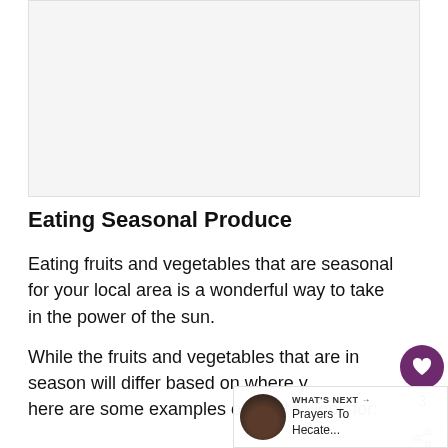[Figure (other): Advertisement placeholder area, light gray rectangle]
Eating Seasonal Produce
Eating fruits and vegetables that are seasonal for your local area is a wonderful way to take in the power of the sun.
While the fruits and vegetables that are in season will differ based on where y... here are some examples of what to look for: